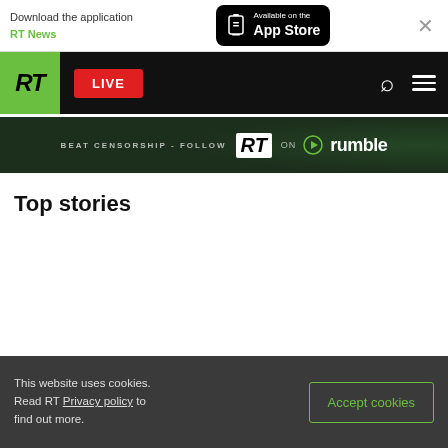Download the application RT News — Available on the App Store
[Figure (screenshot): RT website navigation bar with green RT logo box, red LIVE button, search icon, and hamburger menu on black background]
[Figure (infographic): Beat censorship - Follow RT on Rumble promotional banner with dark green background]
Top stories
This website uses cookies. Read RT Privacy policy to find out more. [Accept cookies button]